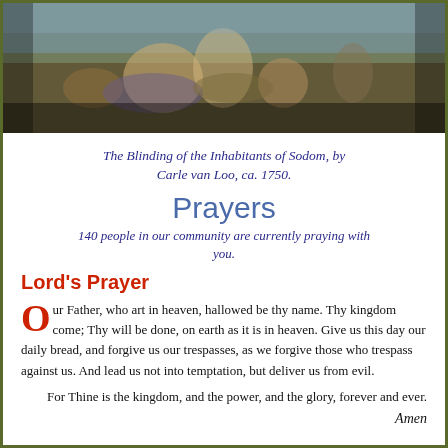[Figure (illustration): Painting depicting The Blinding of the Inhabitants of Sodom, showing figures in dramatic scene with classical style]
The Blinding of the Inhabitants of Sodom, by Carle van Loo, ca. 1750.
Prayers
140 people in our community are currently praying with you.
Lord's Prayer
Our Father, who art in heaven, hallowed be thy name. Thy kingdom come; Thy will be done, on earth as it is in heaven. Give us this day our daily bread, and forgive us our trespasses, as we forgive those who trespass against us. And lead us not into temptation, but deliver us from evil.
For Thine is the kingdom, and the power, and the glory, forever and ever.
Amen